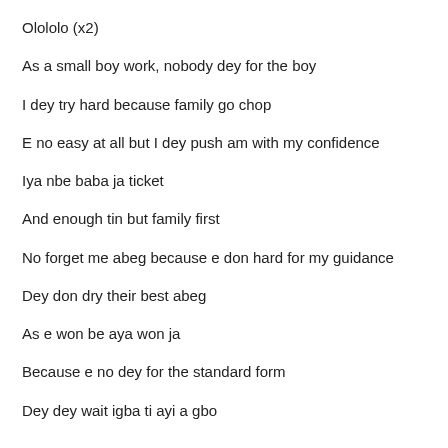Olololo (x2)
As a small boy work, nobody dey for the boy
I dey try hard because family go chop
E no easy at all but I dey push am with my confidence
Iya nbe baba ja ticket
And enough tin but family first
No forget me abeg because e don hard for my guidance
Dey don dry their best abeg
As e won be aya won ja
Because e no dey for the standard form
Dey dey wait igba ti ayi a gbo